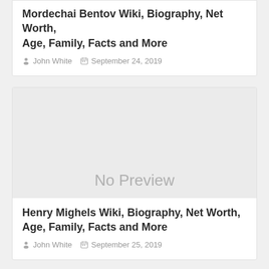Mordechai Bentov Wiki, Biography, Net Worth, Age, Family, Facts and More
John White  September 24, 2019
[Figure (other): No Preview placeholder image in light gray]
Henry Mighels Wiki, Biography, Net Worth, Age, Family, Facts and More
John White  September 25, 2019